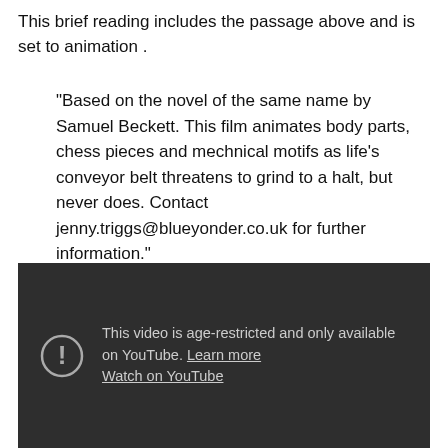This brief reading includes the passage above and is set to animation .
“Based on the novel of the same name by Samuel Beckett. This film animates body parts, chess pieces and mechnical motifs as life’s conveyor belt threatens to grind to a halt, but never does. Contact jenny.triggs@blueyonder.co.uk for further information.”
[Figure (screenshot): YouTube age-restricted video embed showing a dark background with a circle exclamation icon and text: 'This video is age-restricted and only available on YouTube. Learn more. Watch on YouTube.']